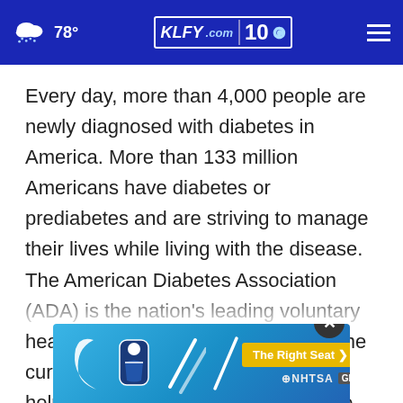78° KLFY.com 10
Every day, more than 4,000 people are newly diagnosed with diabetes in America. More than 133 million Americans have diabetes or prediabetes and are striving to manage their lives while living with the disease. The American Diabetes Association (ADA) is the nation's leading voluntary health organization fighting to bend the curve on the diabetes epidemic and help people living with diabetes thrive. Or nearl...
[Figure (infographic): NHTSA The Right Seat advertisement banner with car seat safety icons and yellow CTA button]